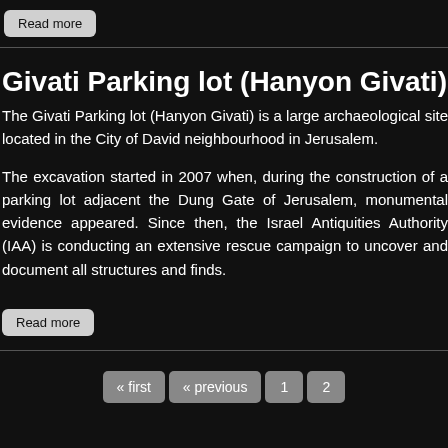Read more
Givati Parking lot (Hanyon Givati)
The Givati Parking lot (Hanyon Givati) is a large archaeological site located in the City of David neighbourhood in Jerusalem.
The excavation started in 2007 when, during the construction of a parking lot adjacent the Dung Gate of Jerusalem, monumental evidence appeared. Since then, the Israel Antiquities Authority (IAA) is conducting an extensive rescue campaign to uncover and document all structures and finds.
Read more
« first  « previous  1  2